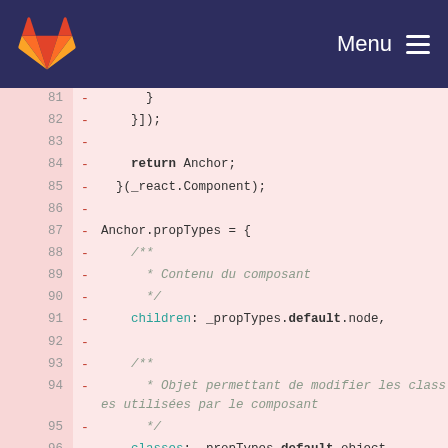[Figure (screenshot): GitLab navigation bar with orange/red fox logo on left and Menu hamburger button on right, dark navy background]
Code diff view showing lines 81-97 of a JavaScript file with deleted lines (marked with -). Content includes: return Anchor;, }(_react.Component);, Anchor.propTypes = {, JSDoc comments in French (Contenu du composant, Objet permettant de modifier les classes utilisées par le composant), children: _propTypes.default.node, classes: _propTypes.default.object,